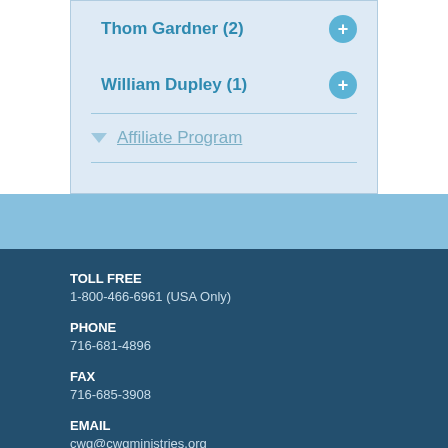Thom Gardner (2)
William Dupley (1)
Affiliate Program
TOLL FREE
1-800-466-6961 (USA Only)
PHONE
716-681-4896
FAX
716-685-3908
EMAIL
cwg@cwgministries.org